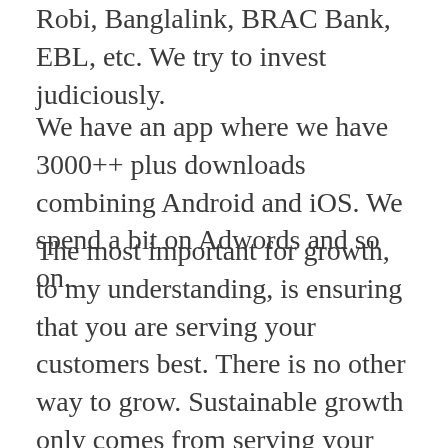Robi, Banglalink, BRAC Bank, EBL, etc. We try to invest judiciously.
We have an app where we have 3000++ plus downloads combining Android and iOS. We spend a bit on Adwords and so on.
The most important for growth, to my understanding, is ensuring that you are serving your customers best. There is no other way to grow. Sustainable growth only comes from serving your customers better than anyone else in the market.